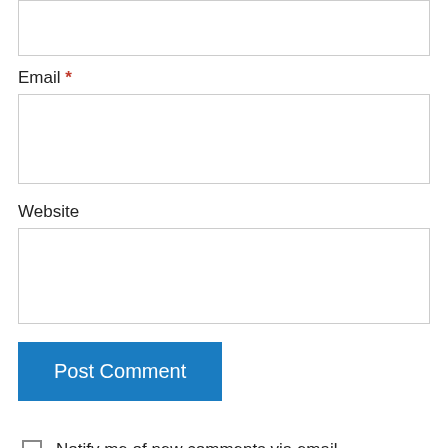Email *
Website
Post Comment
Notify me of new comments via email.
Notify me of new posts via email.
Raani York on October 31, 2014 at 12:44 am